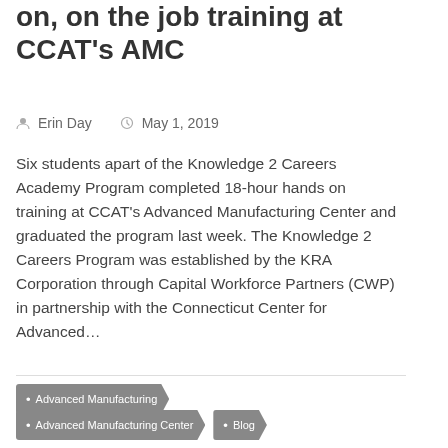on, on the job training at CCAT's AMC
Erin Day   May 1, 2019
Six students apart of the Knowledge 2 Careers Academy Program completed 18-hour hands on training at CCAT's Advanced Manufacturing Center and graduated the program last week. The Knowledge 2 Careers Program was established by the KRA Corporation through Capital Workforce Partners (CWP) in partnership with the Connecticut Center for Advanced…
Advanced Manufacturing
Advanced Manufacturing Center
Blog
CCAT Education & Workforce Partners
Education/Workforce
Manufacturing
Workforce